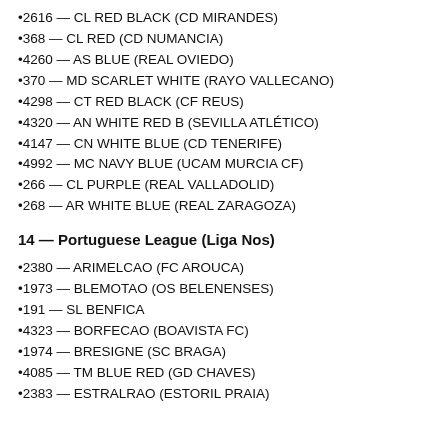•2616 — CL RED BLACK (CD MIRANDES)
•368 — CL RED (CD NUMANCIA)
•4260 — AS BLUE (REAL OVIEDO)
•370 — MD SCARLET WHITE (RAYO VALLECANO)
•4298 — CT RED BLACK (CF REUS)
•4320 — AN WHITE RED B (SEVILLA ATLÉTICO)
•4147 — CN WHITE BLUE (CD TENERIFE)
•4992 — MC NAVY BLUE (UCAM MURCIA CF)
•266 — CL PURPLE (REAL VALLADOLID)
•268 — AR WHITE BLUE (REAL ZARAGOZA)
14 — Portuguese League (Liga Nos)
•2380 — ARIMELCAO (FC AROUCA)
•1973 — BLEMOTAO (OS BELENENSES)
•191 — SL BENFICA
•4323 — BORFECAO (BOAVISTA FC)
•1974 — BRESIGNE (SC BRAGA)
•4085 — TM BLUE RED (GD CHAVES)
•2383 — ESTRALRAO (ESTORIL PRAIA)